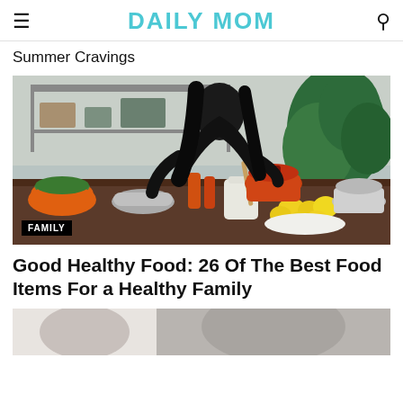DAILY MOM
Summer Cravings
[Figure (photo): Woman in black outfit cooking in a modern kitchen with orange cookware, lemons, pepper mills on the counter. A large green plant in the background. Label 'FAMILY' in bottom left corner.]
Good Healthy Food: 26 Of The Best Food Items For a Healthy Family
[Figure (photo): Partial view of another article image at bottom of page.]